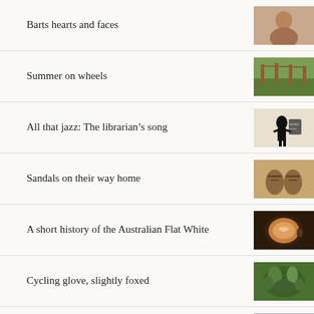Barts hearts and faces
Summer on wheels
All that jazz: The librarian’s song
Sandals on their way home
A short history of the Australian Flat White
Cycling glove, slightly foxed
Untoward occurrence at embassy poetry reading
To Go to Lvov